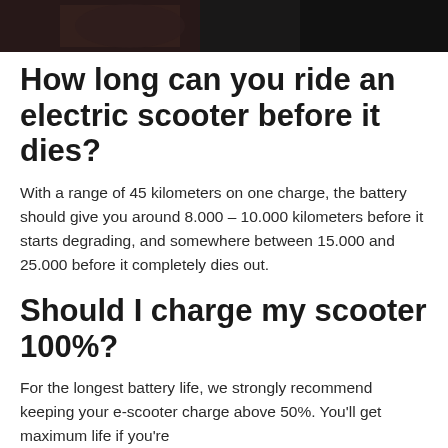[Figure (photo): A dark photo strip at the top of the page, appearing to show a person on a scooter or motorcycle, cropped to a narrow horizontal banner.]
How long can you ride an electric scooter before it dies?
With a range of 45 kilometers on one charge, the battery should give you around 8.000 – 10.000 kilometers before it starts degrading, and somewhere between 15.000 and 25.000 before it completely dies out.
Should I charge my scooter 100%?
For the longest battery life, we strongly recommend keeping your e-scooter charge above 50%. You'll get maximum life if you're